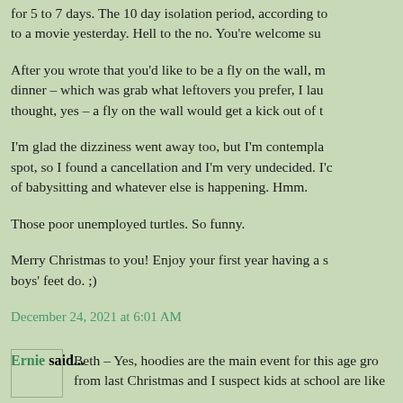for 5 to 7 days. The 10 day isolation period, according to a movie yesterday. Hell to the no. You're welcome su...
After you wrote that you'd like to be a fly on the wall, m... dinner - which was grab what leftovers you prefer, I lau... thought, yes - a fly on the wall would get a kick out of t...
I'm glad the dizziness went away too, but I'm contempla... spot, so I found a cancellation and I'm very undecided. I'c... of babysitting and whatever else is happening. Hmm.
Those poor unemployed turtles. So funny.
Merry Christmas to you! Enjoy your first year having a s... boys' feet do. ;)
December 24, 2021 at 6:01 AM
Ernie said...
Beth - Yes, hoodies are the main event for this age gro... from last Christmas and I suspect kids at school are like...